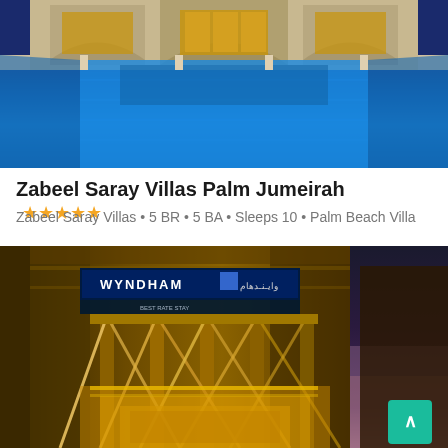[Figure (photo): Aerial view of a luxury hotel pool area with blue illuminated water, symmetric architecture with columns and arched windows in the background]
Zabeel Saray Villas Palm Jumeirah ★★★★★
Zabeel Saray Villas • 5 BR • 5 BA • Sleeps 10 • Palm Beach Villa
[Figure (photo): Exterior of Wyndham hotel at dusk, featuring golden illuminated entrance with diagonal light beams, WYNDHAM sign visible, dramatic sky in background]